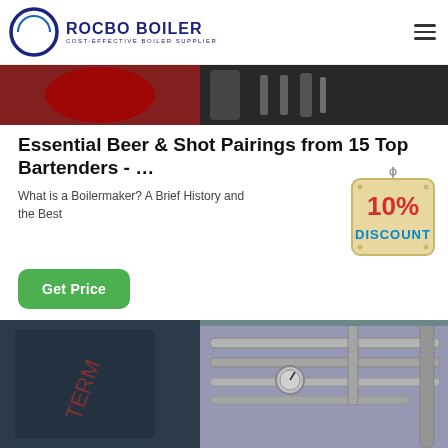ROCBO BOILER - COST-EFFECTIVE BOILER SUPPLIER
[Figure (photo): Top banner image showing industrial boiler equipment with red and dark machinery]
Essential Beer & Shot Pairings from 15 Top Bartenders - …
What is a Boilermaker? A Brief History and the Best
[Figure (illustration): 10% DISCOUNT hanging sign badge in red and blue text on beige background]
Get Price
[Figure (photo): Bottom image showing industrial boiler room with dark blue boiler unit and silver pipes]